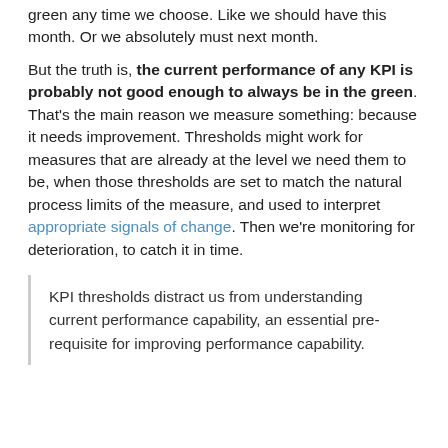green any time we choose. Like we should have this month. Or we absolutely must next month.
But the truth is, the current performance of any KPI is probably not good enough to always be in the green. That's the main reason we measure something: because it needs improvement. Thresholds might work for measures that are already at the level we need them to be, when those thresholds are set to match the natural process limits of the measure, and used to interpret appropriate signals of change. Then we're monitoring for deterioration, to catch it in time.
KPI thresholds distract us from understanding current performance capability, an essential pre-requisite for improving performance capability.